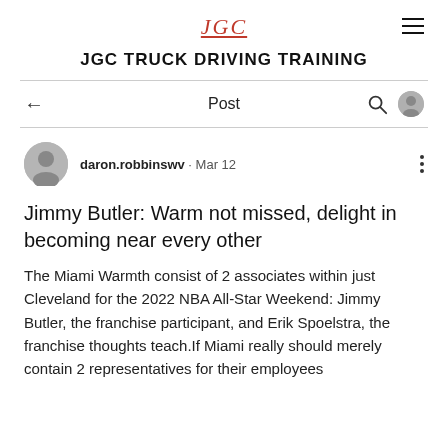JGC
JGC TRUCK DRIVING TRAINING
← Post 🔍 👤
daron.robbinswv · Mar 12
Jimmy Butler: Warm not missed, delight in becoming near every other
The Miami Warmth consist of 2 associates within just Cleveland for the 2022 NBA All-Star Weekend: Jimmy Butler, the franchise participant, and Erik Spoelstra, the franchise thoughts teach.If Miami really should merely contain 2 representatives for their employees